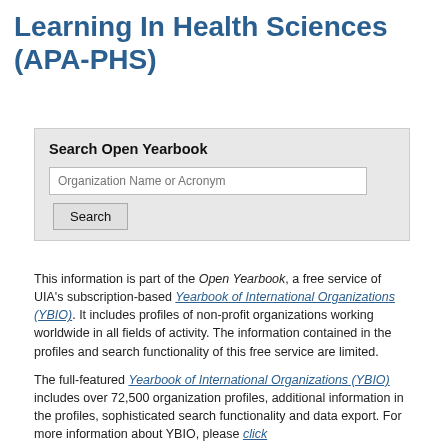Learning In Health Sciences (APA-PHS)
Search Open Yearbook
This information is part of the Open Yearbook, a free service of UIA's subscription-based Yearbook of International Organizations (YBIO). It includes profiles of non-profit organizations working worldwide in all fields of activity. The information contained in the profiles and search functionality of this free service are limited.
The full-featured Yearbook of International Organizations (YBIO) includes over 72,500 organization profiles, additional information in the profiles, sophisticated search functionality and data export. For more information about YBIO, please click